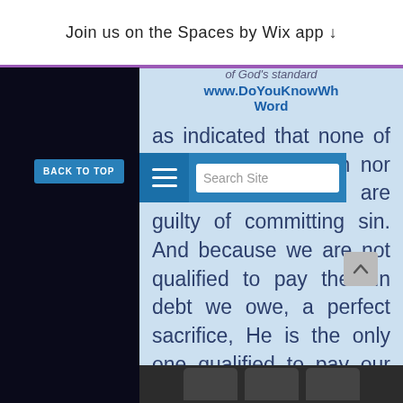Join us on the Spaces by Wix app ↓
of God's standard
www.DoYouKnowWh
Word
as indicated that none of us are good enough nor can we be, so we are guilty of committing sin. And because we are not qualified to pay the sin debt we owe, a perfect sacrifice, He is the only one qualified to pay our debt. His payment is based solely on our acceptance of it, an amazing gift! It is not dependent on how good we are, how intelligent, how capable, how much money we how much